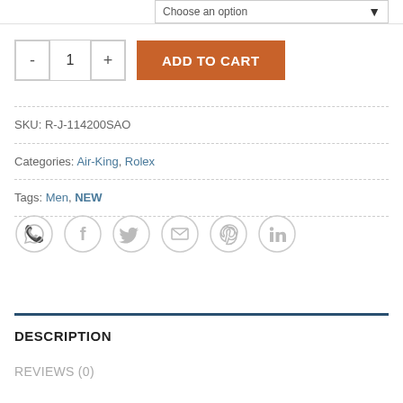Choose an option
- 1 + ADD TO CART
SKU: R-J-114200SAO
Categories: Air-King, Rolex
Tags: Men, NEW
[Figure (infographic): Row of six social sharing icons: WhatsApp, Facebook, Twitter, Email, Pinterest, LinkedIn — all gray outlined circles]
DESCRIPTION
REVIEWS (0)